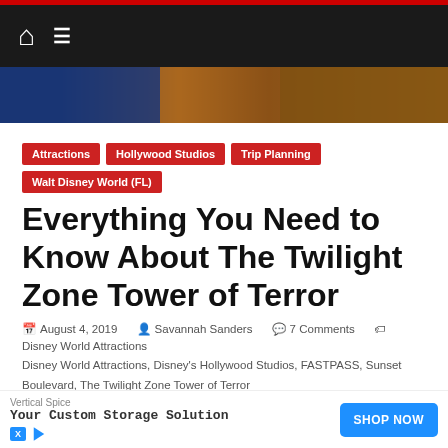[Figure (screenshot): Navigation bar with dark background, home icon and menu icon, red top border strip]
[Figure (photo): Hero banner image showing a dark atmospheric scene, partially visible]
Attractions
Hollywood Studios
Trip Planning
Walt Disney World (FL)
Everything You Need to Know About The Twilight Zone Tower of Terror
August 4, 2019  Savannah Sanders  7 Comments  Disney World Attractions, Disney's Hollywood Studios, FASTPASS, Sunset Boulevard, The Twilight Zone Tower of Terror
Share This!
You're going on
[Figure (screenshot): Advertisement banner: Vertical Spice - Your Custom Storage Solution with Shop Now button]